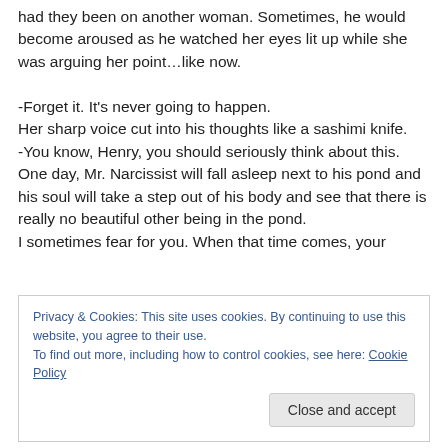had they been on another woman. Sometimes, he would become aroused as he watched her eyes lit up while she was arguing her point…like now.

-Forget it. It's never going to happen.
Her sharp voice cut into his thoughts like a sashimi knife.
-You know, Henry, you should seriously think about this. One day, Mr. Narcissist will fall asleep next to his pond and his soul will take a step out of his body and see that there is really no beautiful other being in the pond.
I sometimes fear for you. When that time comes, your
Privacy & Cookies: This site uses cookies. By continuing to use this website, you agree to their use.
To find out more, including how to control cookies, see here: Cookie Policy
Close and accept